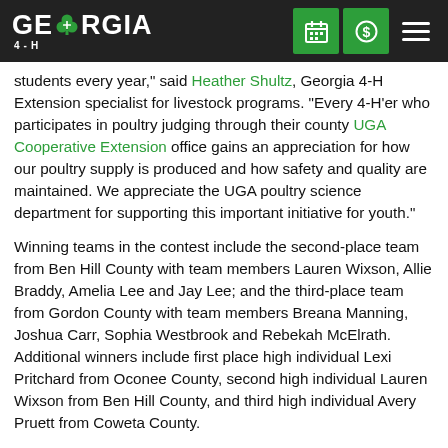Georgia 4-H (logo/navigation bar)
students every year," said Heather Shultz, Georgia 4-H Extension specialist for livestock programs. "Every 4-H'er who participates in poultry judging through their county UGA Cooperative Extension office gains an appreciation for how our poultry supply is produced and how safety and quality are maintained. We appreciate the UGA poultry science department for supporting this important initiative for youth."
Winning teams in the contest include the second-place team from Ben Hill County with team members Lauren Wixson, Allie Braddy, Amelia Lee and Jay Lee; and the third-place team from Gordon County with team members Breana Manning, Joshua Carr, Sophia Westbrook and Rebekah McElrath. Additional winners include first place high individual Lexi Pritchard from Oconee County, second high individual Lauren Wixson from Ben Hill County, and third high individual Avery Pruett from Coweta County.
Georgia 4-H empowers youth to become true leaders by developing necessary life skills, positive relationships and community awareness. As the largest youth leadership organization in the state, 4-H reaches more than 225,000 people annually through UGA Extension offices and